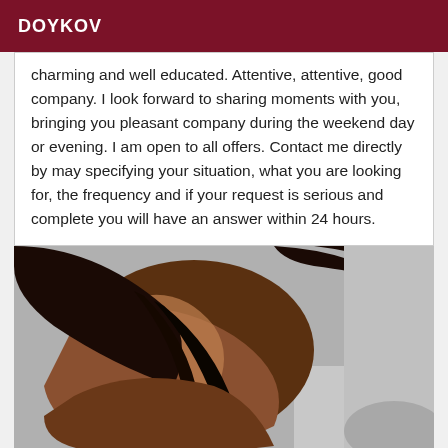DOYKOV
charming and well educated. Attentive, attentive, good company. I look forward to sharing moments with you, bringing you pleasant company during the weekend day or evening. I am open to all offers. Contact me directly by may specifying your situation, what you are looking for, the frequency and if your request is serious and complete you will have an answer within 24 hours.
[Figure (photo): Close-up photo of a person with dark skin and dark hair, torso/shoulder area visible, grey background]